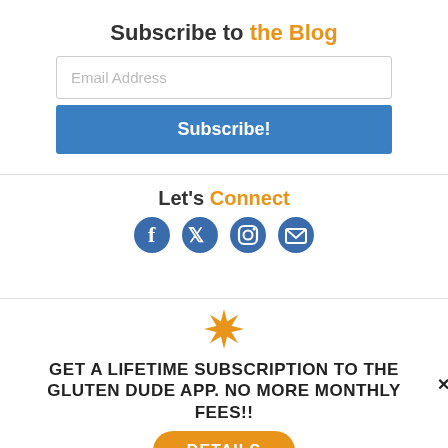Subscribe to the Blog
[Figure (other): Email address input field with placeholder text 'Email Address']
[Figure (other): Blue Subscribe! button]
Let's Connect
[Figure (other): Social media icons: Facebook, Twitter, Instagram, Email]
[Figure (other): Orange 8-pointed star/asterisk decorative icon]
GET A LIFETIME SUBSCRIPTION TO THE GLUTEN DUDE APP. NO MORE MONTHLY FEES!!
[Figure (other): Orange rounded DETAILS button]